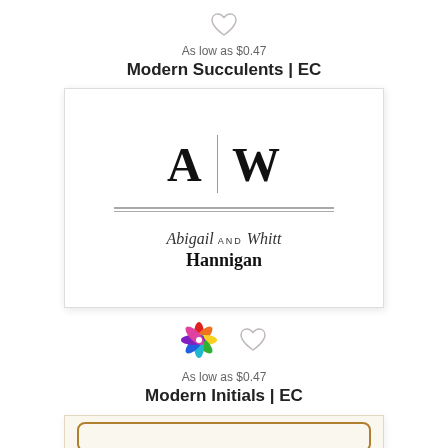[Figure (illustration): Gray heart icon (favorite/wishlist button)]
As low as $0.47
Modern Succulents | EC
[Figure (illustration): Wedding card preview showing large initials A and W separated by a vertical line, double horizontal rule, and cursive text 'Abigail AND Whitt Hannigan']
[Figure (illustration): Colorful pinwheel/flower logo icon and gray heart icon side by side]
As low as $0.47
Modern Initials | EC
[Figure (illustration): Partial card preview with cream/beige background and gold rounded rectangle border]